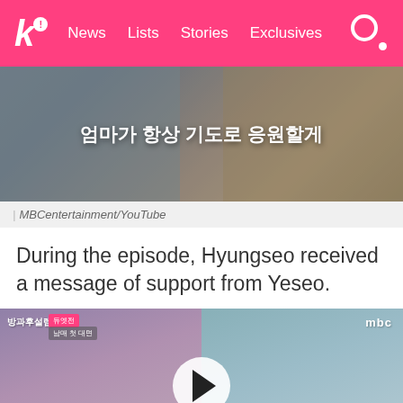k! News  Lists  Stories  Exclusives
[Figure (screenshot): Video thumbnail with Korean text overlay reading 엄마가 항상 기도로 응원할게, showing two people in the background]
| MBCentertainment/YouTube
During the episode, Hyungseo received a message of support from Yeseo.
[Figure (screenshot): Video thumbnail showing two young women side by side with a play button overlay; MBC branding in top right, Korean text overlays in top left]